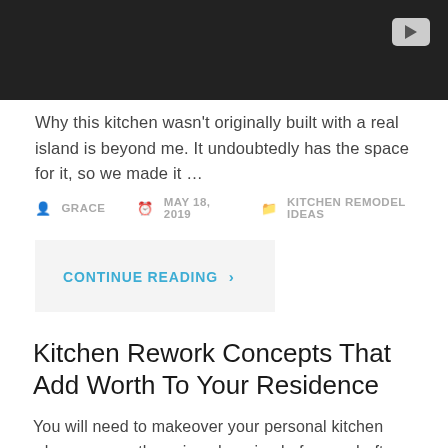[Figure (screenshot): Dark video thumbnail with a play button icon in the top right corner]
Why this kitchen wasn't originally built with a real island is beyond me. It undoubtedly has the space for it, so we made it …
GRACE  MAY 18, 2019  KITCHEN REMODEL IDEAS
CONTINUE READING ›
Kitchen Rework Concepts That Add Worth To Your Residence
You will need to makeover your personal kitchen when you see these jaw-dropping before-and-after pictures. The typical cost of a kitchen rework in Studio Metropolis is approximately $18,900 to $37,900. Upon getting looked at all the ideas resolve which ones that you want to use so as to get the most out of your kitchen.